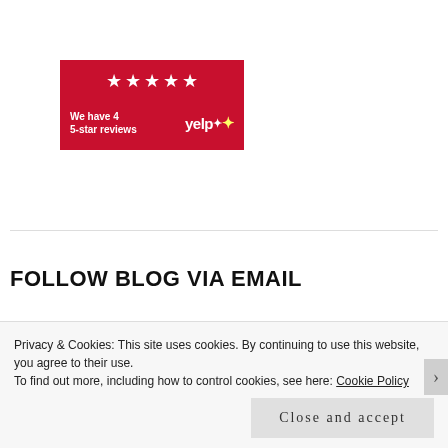[Figure (logo): Yelp badge showing 5 red stars and text 'We have 4 5-star reviews' with Yelp logo]
FOLLOW BLOG VIA EMAIL
Enter your email address to follow this blog and receive notifications of new posts by email.
Email Address
Privacy & Cookies: This site uses cookies. By continuing to use this website, you agree to their use.
To find out more, including how to control cookies, see here: Cookie Policy
Close and accept